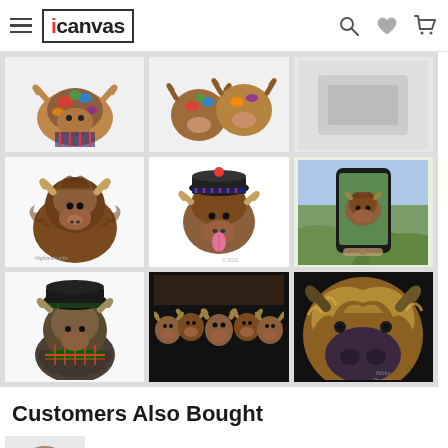iCanvas
[Figure (screenshot): 3x3 grid of highland cow canvas art products on iCanvas e-commerce website. Row 1: colorful illustrated highland cow face, two colorful highland cows together, partial white/grey image. Row 2: realistic brown highland cow portrait, highland cow with Scottish hat and tongue out, highland cow selfie with phone on green landscape. Row 3: highland cow with black hat and tartan scarf, row of five highland cows on black background, close-up highland cow on black background.]
Customers Also Bought